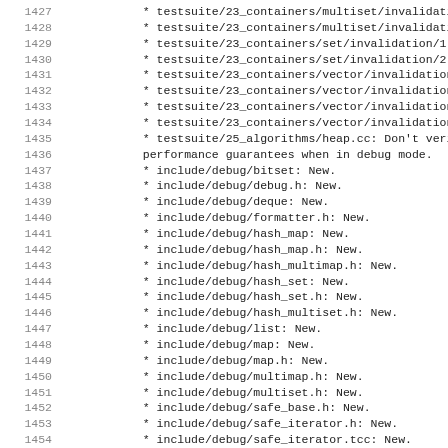1427  * testsuite/23_containers/multiset/invalidation/...
1428  * testsuite/23_containers/multiset/invalidation/...
1429  * testsuite/23_containers/set/invalidation/1.cc
1430  * testsuite/23_containers/set/invalidation/2.cc
1431  * testsuite/23_containers/vector/invalidation/1
1432  * testsuite/23_containers/vector/invalidation/2
1433  * testsuite/23_containers/vector/invalidation/3
1434  * testsuite/23_containers/vector/invalidation/4
1435  * testsuite/25_algorithms/heap.cc: Don't verify performance guarantees when in debug mode.
1437  * include/debug/bitset: New.
1438  * include/debug/debug.h: New.
1439  * include/debug/deque: New.
1440  * include/debug/formatter.h: New.
1441  * include/debug/hash_map: New.
1442  * include/debug/hash_map.h: New.
1443  * include/debug/hash_multimap.h: New.
1444  * include/debug/hash_set: New.
1445  * include/debug/hash_set.h: New.
1446  * include/debug/hash_multiset.h: New.
1447  * include/debug/list: New.
1448  * include/debug/map: New.
1449  * include/debug/map.h: New.
1450  * include/debug/multimap.h: New.
1451  * include/debug/multiset.h: New.
1452  * include/debug/safe_base.h: New.
1453  * include/debug/safe_iterator.h: New.
1454  * include/debug/safe_iterator.tcc: New.
1455  * include/debug/safe_sequence.h: New.
1456  * include/debug/set: New.
1457  * include/debug/set.h: New.
1458  * include/debug/string: New.